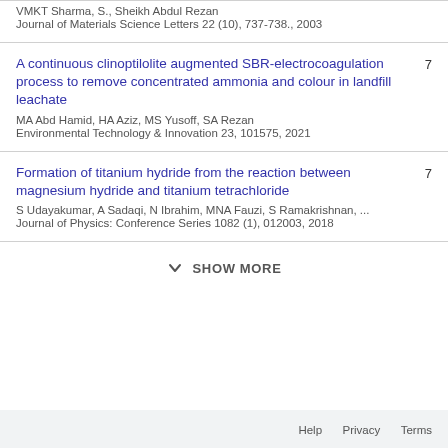VMKT Sharma, S., Sheikh Abdul Rezan
Journal of Materials Science Letters 22 (10), 737-738., 2003
A continuous clinoptilolite augmented SBR-electrocoagulation process to remove concentrated ammonia and colour in landfill leachate
MA Abd Hamid, HA Aziz, MS Yusoff, SA Rezan
Environmental Technology & Innovation 23, 101575, 2021
Formation of titanium hydride from the reaction between magnesium hydride and titanium tetrachloride
S Udayakumar, A Sadaqi, N Ibrahim, MNA Fauzi, S Ramakrishnan, ...
Journal of Physics: Conference Series 1082 (1), 012003, 2018
SHOW MORE
Help  Privacy  Terms